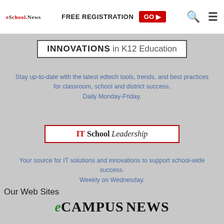eSchool News | FREE REGISTRATION GO ▶ 🔍 ☰
[Figure (logo): INNOVATIONS in K12 Education banner with border]
Stay up-to-date with the latest edtech tools, trends, and best practices for classroom, school and district success. Daily Monday-Friday.
[Figure (logo): IT School Leadership logo in bordered box with red IT text]
Your source for IT solutions and innovations to support school-wide success. Weekly on Wednesday.
Our Web Sites
[Figure (logo): eCampus News logo in green and black]